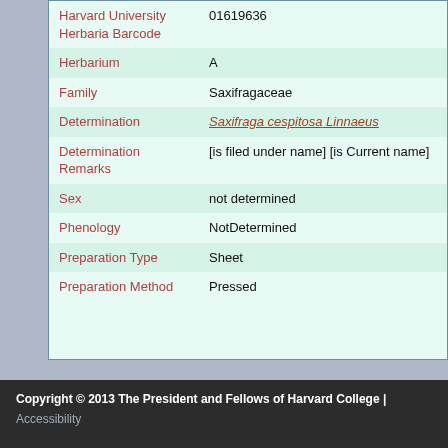| Field | Value |
| --- | --- |
| Harvard University Herbaria Barcode | 01619636 |
| Herbarium | A |
| Family | Saxifragaceae |
| Determination | Saxifraga cespitosa Linnaeus |
| Determination Remarks | [is filed under name] [is Current name] |
| Sex | not determined |
| Phenology | NotDetermined |
| Preparation Type | Sheet |
| Preparation Method | Pressed |
Copyright © 2013 The President and Fellows of Harvard College | Accessibility